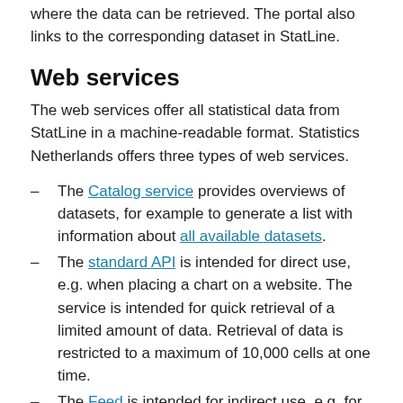where the data can be retrieved. The portal also links to the corresponding dataset in StatLine.
Web services
The web services offer all statistical data from StatLine in a machine-readable format. Statistics Netherlands offers three types of web services.
The Catalog service provides overviews of datasets, for example to generate a list with information about all available datasets.
The standard API is intended for direct use, e.g. when placing a chart on a website. The service is intended for quick retrieval of a limited amount of data. Retrieval of data is restricted to a maximum of 10,000 cells at one time.
The Feed is intended for indirect use, e.g. for downloading large quantities of data for further processing. A single call can return an unlimited number